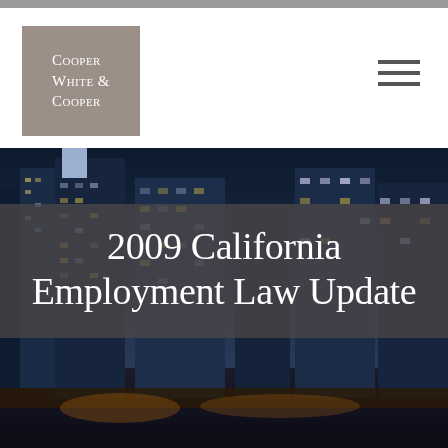[Figure (logo): Cooper White & Cooper law firm logo — white small-caps text on taupe/brown square background]
2009 California Employment Law Update
[Figure (photo): Nighttime aerial cityscape photo showing illuminated skyscrapers and city streets]